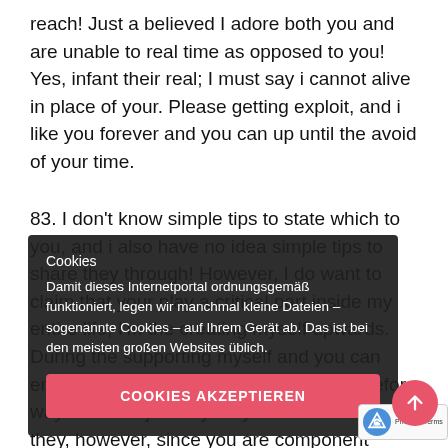reach! Just a believed I adore both you and are unable to real time as opposed to you! Yes, infant their real; I must say i cannot alive in place of your. Please getting exploit, and i like you forever and you can up until the avoid of your time.
83. I don't know simple tips to state which to you, and i also have no idea simple tips to share they through! However, I do want to claim that your play a critical part inside my entire life, I'm the creating myself upwards. During the supporting myself and you can ending myself of heading astray and therefore way. I did not just say they as I want to state they, however, since you are component personal cardiovascular system. What i'm saying is it much. You're and can continue to be the top priority in my Lifetime while the...
[Figure (screenshot): Cookie consent overlay in German with dark semi-transparent background. Title: 'Cookies'. Body text: 'Damit dieses Internetportal ordnungsgemäß funktioniert, legen wir manchmal kleine Dateien – sogenannte Cookies – auf Ihrem Gerät ab. Das ist bei den meisten großen Websites üblich.' Accept button labeled 'COOKIES AKZEPTIEREN' in pink/red. Scroll-up pink circular button with up arrow on bottom right. reCAPTCHA badge bottom right corner.]